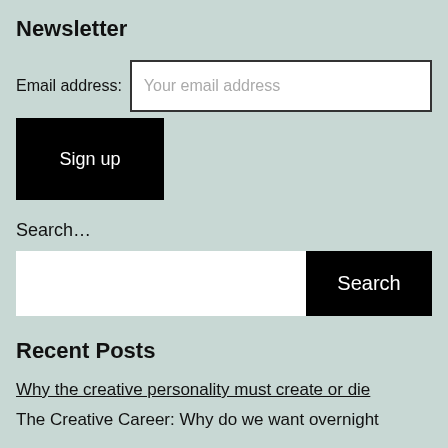Newsletter
Email address: Your email address
Sign up
Search…
Search
Recent Posts
Why the creative personality must create or die
The Creative Career: Why do we want overnight